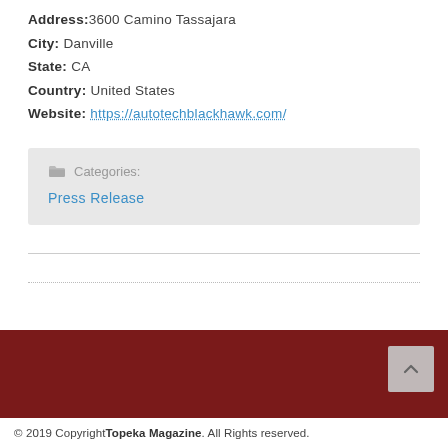Address:3600 Camino Tassajara
City: Danville
State: CA
Country: United States
Website: https://autotechblackhawk.com/
Categories: Press Release
© 2019 Copyright Topeka Magazine. All Rights reserved.